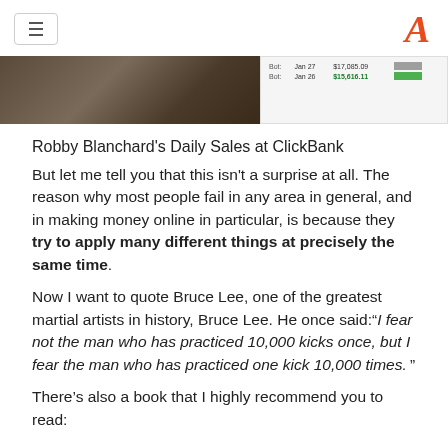hamburger menu | logo A
[Figure (screenshot): Partial image of Robby Blanchard on the left and a ClickBank sales table on the right showing daily sales figures]
Robby Blanchard's Daily Sales at ClickBank
But let me tell you that this isn't a surprise at all. The reason why most people fail in any area in general, and in making money online in particular, is because they try to apply many different things at precisely the same time.
Now I want to quote Bruce Lee, one of the greatest martial artists in history, Bruce Lee. He once said:“I fear not the man who has practiced 10,000 kicks once, but I fear the man who has practiced one kick 10,000 times.”
There’s also a book that I highly recommend you to read: